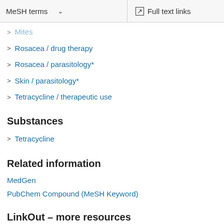MeSH terms   ∨   Full text links
Mites
Rosacea / drug therapy
Rosacea / parasitology*
Skin / parasitology*
Tetracycline / therapeutic use
Substances
Tetracycline
Related information
MedGen
PubChem Compound (MeSH Keyword)
LinkOut – more resources
Full Text S...